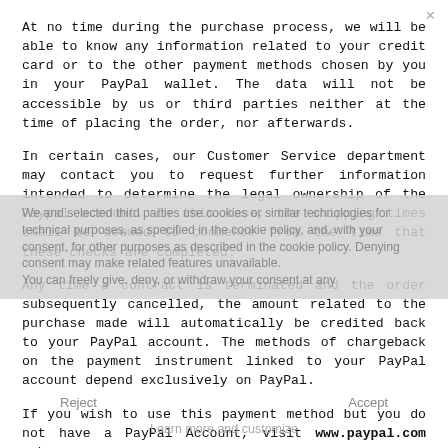At no time during the purchase process, we will be able to know any information related to your credit card or to the other payment methods chosen by you in your PayPal wallet. The data will not be accessible by us or third parties neither at the time of placing the order, nor afterwards.
In certain cases, our Customer Service department may contact you to request further information intended to determine the legal ownership of the Paypal account. In this case, the shipping times shall be deemed to commence from the time that these checks are completed.
Any time a contract is terminated and the order subsequently cancelled, the amount related to the purchase made will automatically be credited back to your PayPal account. The methods of chargeback on the payment instrument linked to your PayPal account depend exclusively on PayPal.
If you wish to use this payment method but you do not have a PayPal Account, visit www.paypal.com webpage.